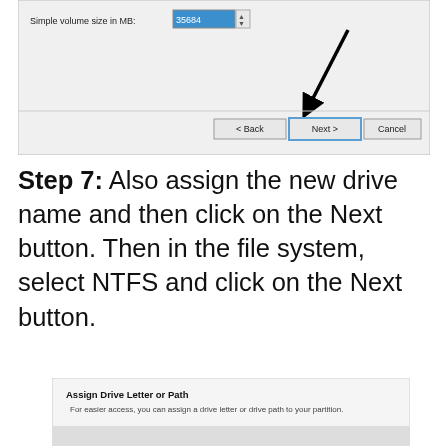[Figure (screenshot): Windows disk management wizard dialog showing 'Simple volume size in MB: 35684' input field with a Next button highlighted by a black arrow. Buttons: < Back, Next >, Cancel.]
Step 7: Also assign the new drive name and then click on the Next button. Then in the file system, select NTFS and click on the Next button.
[Figure (screenshot): Windows 'Assign Drive Letter or Path' dialog: 'For easier access, you can assign a drive letter or drive path to your partition.']